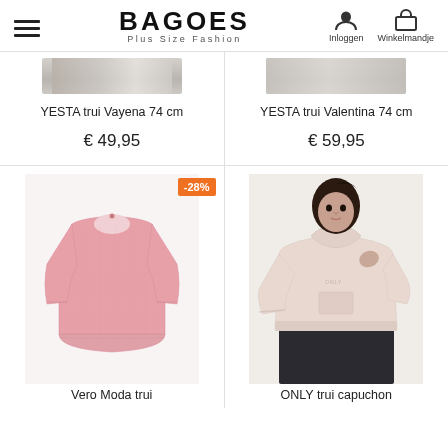BAGOES Plus Size Fashion — Inloggen | Winkelmandje
YESTA trui Vayena 74 cm
€ 49,95
YESTA trui Valentina 74 cm
€ 59,95
[Figure (photo): Pink knit oversized short-sleeve sweater by Vero Moda with a -28% discount badge]
Vero Moda trui
[Figure (photo): Woman wearing a light pink hoodie by ONLY, showing ONLY trui capuchon product]
ONLY trui capuchon